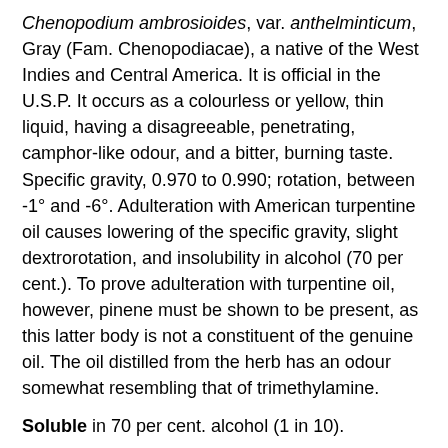Chenopodium ambrosioides, var. anthelminticum, Gray (Fam. Chenopodiacae), a native of the West Indies and Central America. It is official in the U.S.P. It occurs as a colourless or yellow, thin liquid, having a disagreeable, penetrating, camphor-like odour, and a bitter, burning taste. Specific gravity, 0.970 to 0.990; rotation, between -1° and -6°. Adulteration with American turpentine oil causes lowering of the specific gravity, slight dextrorotation, and insolubility in alcohol (70 per cent.). To prove adulteration with turpentine oil, however, pinene must be shown to be present, as this latter body is not a constituent of the genuine oil. The oil distilled from the herb has an odour somewhat resembling that of trimethylamine.
Soluble in 70 per cent. alcohol (1 in 10).
Constituents.—The oil contains a high percentage (60 to 65 per cent.) of ascaridol, an unstable alcohol readily decomposed on heating, with the production of a hydrocarbon. It also contains para-cymene and possibly sylvestrene.
Action and Uses.—Chenopodium oil is employed as an anthelmintic, especially to expel round worms. The dose is given at bedtime, on an empty stomach, and followed by an aperient. A dose of 6 decimils (0.6 milliliters) (10 minims) is recommended for